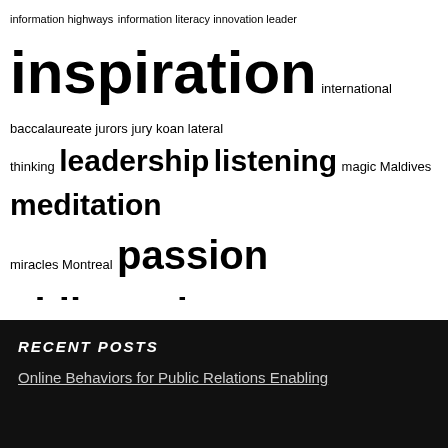[Figure (infographic): Tag cloud / word cloud featuring education and research-related terms in varying font sizes indicating frequency. Terms include: information highways, information literacy, innovation leader, inspiration, international baccalaureate, jurors, jury, koan, lateral thinking, leadership, listening, magic, Maldives, meditation, miracles, Montreal, passion, philosophy, physical education teacher, poetry, problem solving, project guidance, purpose, Qatar, quotes, reflective inquiry, relationships, religion, Research, research exhibition, sand creek high school, science, single sex classrooms, social complexities, social fiction, Social Media, society, Sri Lanka, technology, theories, world war ii aviation, writers]
RECENT POSTS
Online Behaviors for Public Relations Enabling